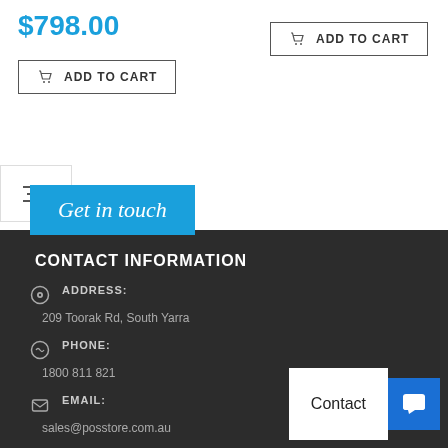$798.00
ADD TO CART
ADD TO CART
Get in touch
CONTACT INFORMATION
ADDRESS: 209 Toorak Rd, South Yarra
PHONE: 1800 811 821
EMAIL: sales@posstore.com.au
WORKING DAYS/HOURS:
Contact